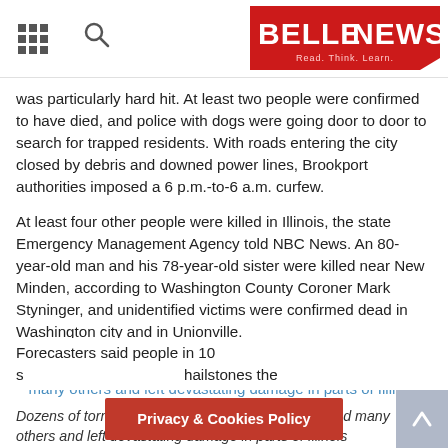BELLE NEWS — Read. Think. Learn.
was particularly hard hit. At least two people were confirmed to have died, and police with dogs were going door to door to search for trapped residents. With roads entering the city closed by debris and downed power lines, Brookport authorities imposed a 6 p.m.-to-6 a.m. curfew.
At least four other people were killed in Illinois, the state Emergency Management Agency told NBC News. An 80-year-old man and his 78-year-old sister were killed near New Minden, according to Washington County Coroner Mark Styninger, and unidentified victims were confirmed dead in Washington city and in Unionville.
Dozens of tornadoes killed at least six people, injured many others and left devastating damage in parts of Illinois
Dozens of tornadoes killed at least six people, injured many others and left devastating damage in parts of Illinois
Forecasters said people in 10 s… hailstones the size of tennis balls have been…